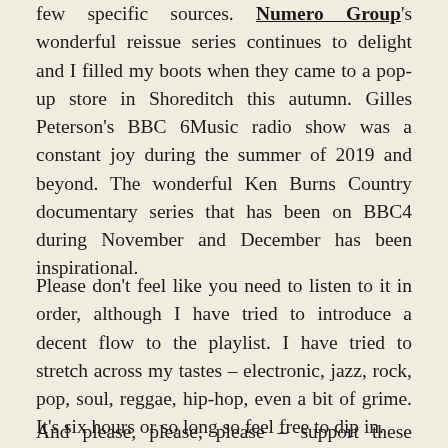few specific sources. Numero Group's wonderful reissue series continues to delight and I filled my boots when they came to a pop-up store in Shoreditch this autumn. Gilles Peterson's BBC 6Music radio show was a constant joy during the summer of 2019 and beyond. The wonderful Ken Burns Country documentary series that has been on BBC4 during November and December has been inspirational.
Please don't feel like you need to listen to it in order, although I have tried to introduce a decent flow to the playlist. I have tried to stretch across my tastes – electronic, jazz, rock, pop, soul, reggae, hip-hop, even a bit of grime. It's six hours or so long so feel free to dip in.
And please, please, please – support these musicians. They need it now more than ever with reduced funding, tighter